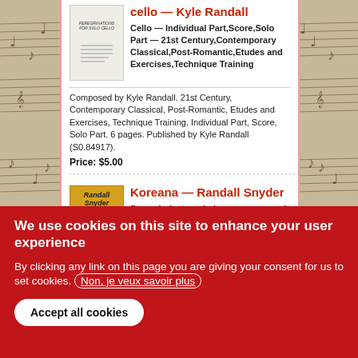cello — Kyle Randall
Cello — Individual Part,Score,Solo Part — 21st Century,Contemporary Classical,Post-Romantic,Etudes and Exercises,Technique Training
Composed by Kyle Randall. 21st Century, Contemporary Classical, Post-Romantic, Etudes and Exercises, Technique Training. Individual Part, Score, Solo Part. 6 pages. Published by Kyle Randall (S0.84917).
Price: $5.00
Koreana — Randall Snyder
flute, clarinet, and piano — score and parts — 21st Century
Composed by Randall Snyder. Koreana
We use cookies on this site to enhance your user experience
By clicking any link on this page you are giving your consent for us to set cookies. Non, je veux savoir plus
Accept all cookies